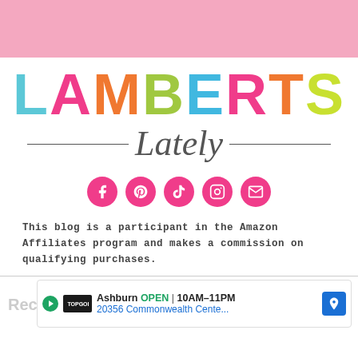[Figure (logo): Pink horizontal banner bar at top of page]
[Figure (logo): Lamberts Lately blog logo with colorful letters LAMBERTS and cursive 'Lately' below with horizontal lines on each side]
[Figure (infographic): Row of 5 pink circular social media icons: Facebook, Pinterest, TikTok, Instagram, Email]
This blog is a participant in the Amazon Affiliates program and makes a commission on qualifying purchases.
[Figure (screenshot): Advertisement bar at bottom showing Topgolf Ashburn OPEN 10AM-11PM 20356 Commonwealth Cente...]